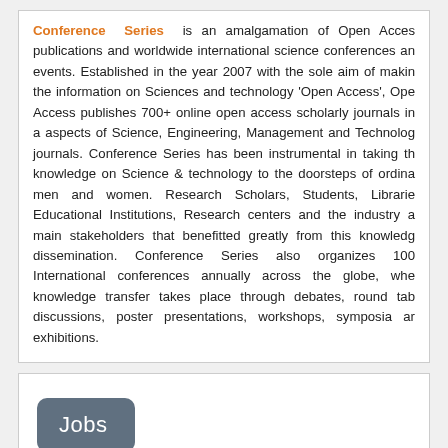Conference Series is an amalgamation of Open Access publications and worldwide international science conferences and events. Established in the year 2007 with the sole aim of making the information on Sciences and technology 'Open Access', Open Access publishes 700+ online open access scholarly journals in all aspects of Science, Engineering, Management and Technology journals. Conference Series has been instrumental in taking the knowledge on Science & technology to the doorsteps of ordinary men and women. Research Scholars, Students, Libraries, Educational Institutions, Research centers and the industry are main stakeholders that benefitted greatly from this knowledge dissemination. Conference Series also organizes 1000+ International conferences annually across the globe, where knowledge transfer takes place through debates, round table discussions, poster presentations, workshops, symposia and exhibitions.
[Figure (other): Jobs button - grey rounded rectangle with white text reading 'Jobs']